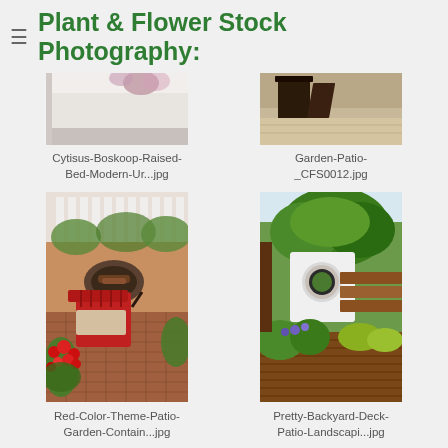Plant & Flower Stock Photography:
Cytisus-Boskoop-Raised-Bed-Modern-Ur...jpg
Garden-Patio-_CFS0012.jpg
Red-Color-Theme-Patio-Garden-Contain...jpg
Pretty-Backyard-Deck-Patio-Landscapi...jpg